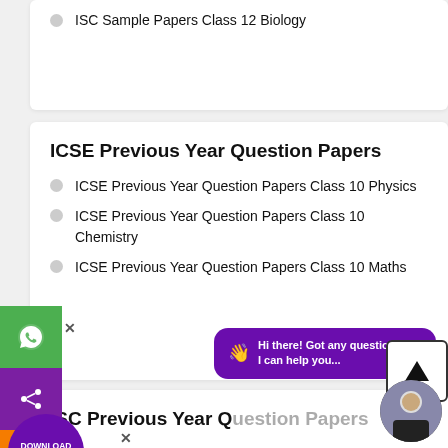ISC Sample Papers Class 12 Biology
ICSE Previous Year Question Papers
ICSE Previous Year Question Papers Class 10 Physics
ICSE Previous Year Question Papers Class 10 Chemistry
ICSE Previous Year Question Papers Class 10 Maths
ISC Previous Year Question Papers
ISC Previous Year Question Papers Class 12 Physics
ISC Previous Year Question Papers Class 12 Chemistry
ISC Previous Year Question Papers Class 12 Biology
[Figure (infographic): Chat bubble overlay with text: Hi there! Got any questions? I can help you...]
[Figure (infographic): Download App Now badge (purple circle), WhatsApp green button, Share purple button, Phone orange button, Scroll-to-top arrow button, Person avatar]